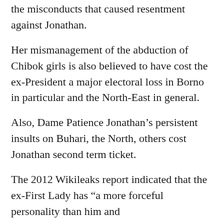the misconducts that caused resentment against Jonathan.
Her mismanagement of the abduction of Chibok girls is also believed to have cost the ex-President a major electoral loss in Borno in particular and the North-East in general.
Also, Dame Patience Jonathan’s persistent insults on Buhari, the North, others cost Jonathan second term ticket.
The 2012 Wikileaks report indicated that the ex-First Lady has “a more forceful personality than him and